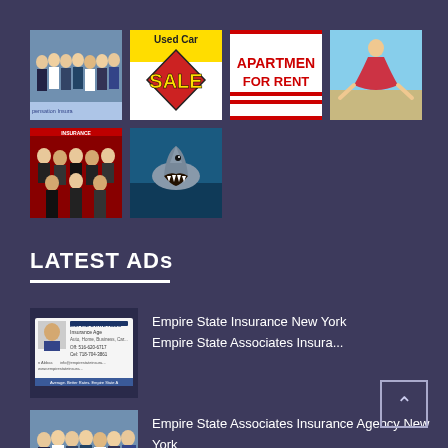[Figure (photo): Group of professionals in business attire]
[Figure (photo): Used Car Sale sign with red diamond shape]
[Figure (photo): Apartment For Rent sign in red and white]
[Figure (photo): Person doing gymnastics on beach]
[Figure (photo): Group photo of people at event with red background]
[Figure (photo): Shark emerging from water]
LATEST ADs
[Figure (photo): Empire State Associates Insurance Agency business card showing phone Off: 516-620-6717, Cel: 718-704-3861]
Empire State Insurance New York
Empire State Associates Insura...
[Figure (photo): Team of professionals in business attire - Empire State Associates Insurance]
Empire State Associates Insurance Agency New York
Empire State Associates Insura...